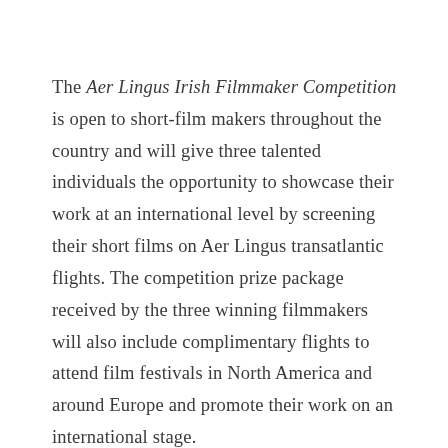The Aer Lingus Irish Filmmaker Competition is open to short-film makers throughout the country and will give three talented individuals the opportunity to showcase their work at an international level by screening their short films on Aer Lingus transatlantic flights. The competition prize package received by the three winning filmmakers will also include complimentary flights to attend film festivals in North America and around Europe and promote their work on an international stage.